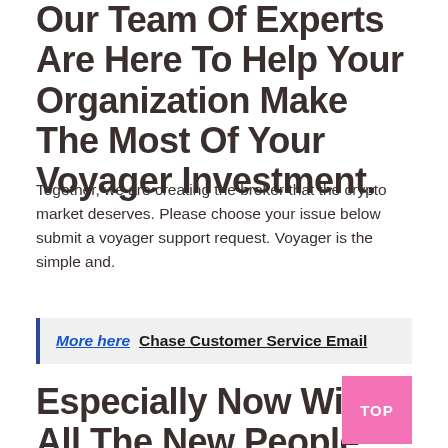Our Team Of Experts Are Here To Help Your Organization Make The Most Of Your Voyager Investment.
Together, we are creating the broker that the crypto market deserves. Please choose your issue below submit a voyager support request. Voyager is the simple and.
More here  Chase Customer Service Email
Especially Now With All The New People On Crypto Sending Tickets In Over A Over.